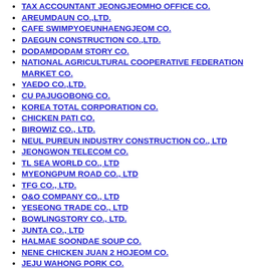TAX ACCOUNTANT JEONGJEOMHO OFFICE CO.
AREUMDAUN CO.,LTD.
CAFE SWIMPYOEUNHAENGJEOM CO.
DAEGUN CONSTRUCTION CO.,LTD.
DODAMDODAM STORY CO.
NATIONAL AGRICULTURAL COOPERATIVE FEDERATION MARKET CO.
YAEDO CO.,LTD.
CU PAJUGOBONG CO.
KOREA TOTAL CORPORATION CO.
CHICKEN PATI CO.
BIROWIZ CO., LTD.
NEUL PUREUN INDUSTRY CONSTRUCTION CO., LTD
JEONGWON TELECOM CO.
TL SEA WORLD CO., LTD
MYEONGPUM ROAD CO., LTD
TFG CO., LTD.
O&O COMPANY CO., LTD
YESEONG TRADE CO., LTD
BOWLINGSTORY CO., LTD.
JUNTA CO., LTD
HALMAE SOONDAE SOUP CO.
NENE CHICKEN JUAN 2 HOJEOM CO.
JEJU WAHONG PORK CO.
AHCHIM OIL STATION CO.
AHRANAHAN CO., LTD